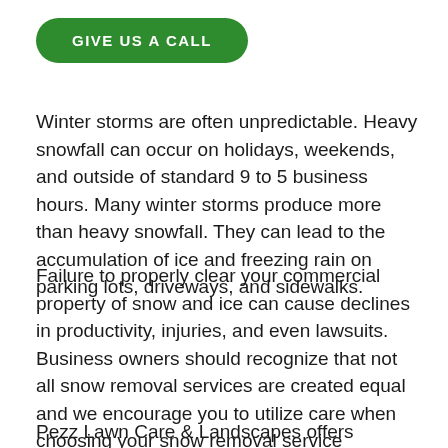[Figure (other): Green rounded button with white text reading 'GIVE US A CALL']
Winter storms are often unpredictable. Heavy snowfall can occur on holidays, weekends, and outside of standard 9 to 5 business hours. Many winter storms produce more than heavy snowfall. They can lead to the accumulation of ice and freezing rain on parking lots, driveways, and sidewalks.
Failure to properly clear your commercial property of snow and ice can cause declines in productivity, injuries, and even lawsuits. Business owners should recognize that not all snow removal services are created equal and we encourage you to utilize care when choosing your snow removal service provider.
Pezz Lawn Care & Landscapes offers commercial